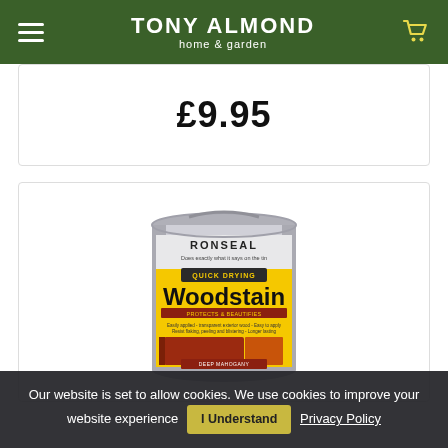TONY ALMOND home & garden
£9.95
[Figure (photo): Ronseal Quick Drying Woodstain tin, Deep Mahogany colour, cylindrical metal can with yellow label]
Our website is set to allow cookies. We use cookies to improve your website experience   I Understand   Privacy Policy